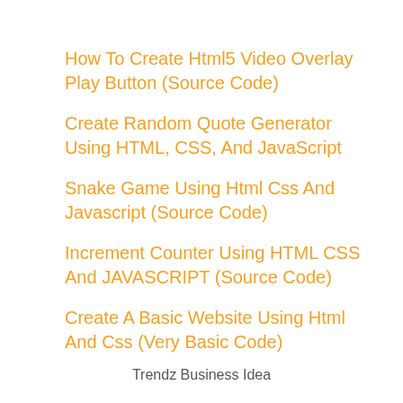How To Create Html5 Video Overlay Play Button (Source Code)
Create Random Quote Generator Using HTML, CSS, And JavaScript
Snake Game Using Html Css And Javascript (Source Code)
Increment Counter Using HTML CSS And JAVASCRIPT (Source Code)
Create A Basic Website Using Html And Css (Very Basic Code)
Trendz Business Idea